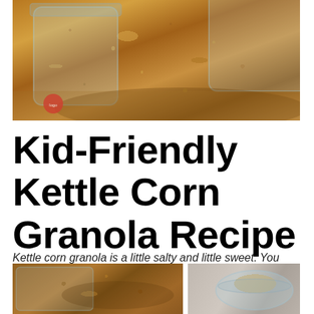[Figure (photo): Glass jars filled with granola, with granola spilling out onto a wooden surface]
Kid-Friendly Kettle Corn Granola Recipe
Kettle corn granola is a little salty and little sweet. You get the flavor of kettle corn in your breakfast bowl!
[Figure (photo): Two photos showing granola in jars, close-up views]